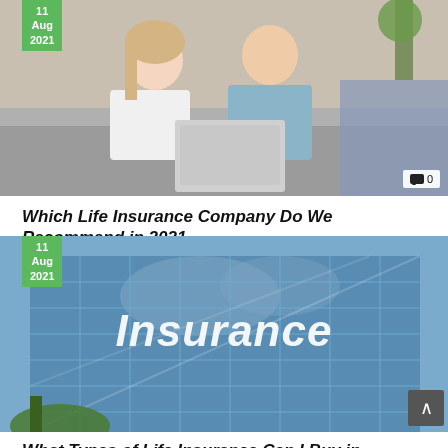[Figure (photo): A couple sitting on a couch looking at a laptop together, reviewing documents]
Which Life Insurance Company Do We Recommend in 2021
[Figure (photo): Glass building with the word 'Insurance' overlaid in large chrome letters against a blue sky]
What Types of Life Insurance Can I Buy in